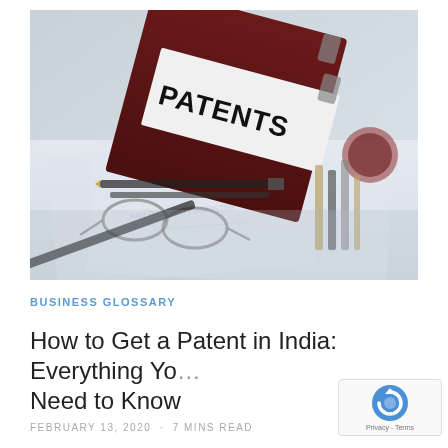[Figure (photo): Photo of a dark red binder labeled 'PATENTS' in bold black text on a white label, surrounded by glasses, pens, pencils, and paper documents on a desk, shown in a desaturated blue-grey tone.]
BUSINESS GLOSSARY
How to Get a Patent in India: Everything You Need to Know
FEBRUARY 13, 2020 · 7 MINS READ